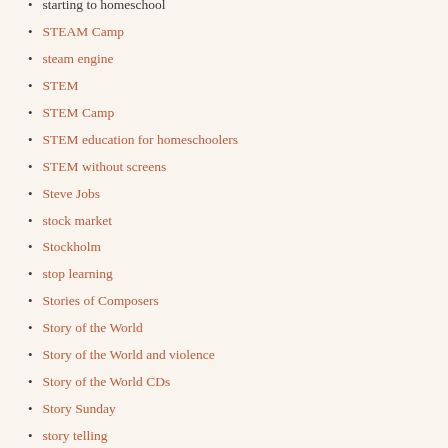starting to homeschool
STEAM Camp
steam engine
STEM
STEM Camp
STEM education for homeschoolers
STEM without screens
Steve Jobs
stock market
Stockholm
stop learning
Stories of Composers
Story of the World
Story of the World and violence
Story of the World CDs
Story Sunday
story telling
story time